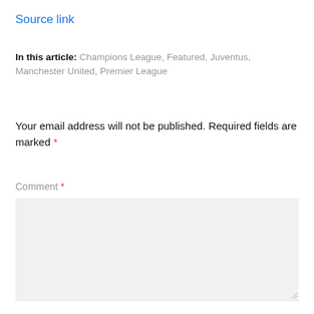Source link
In this article: Champions League, Featured, Juventus, Manchester United, Premier League
Your email address will not be published. Required fields are marked *
Comment *
[Figure (other): Empty comment text area input field with light gray background]